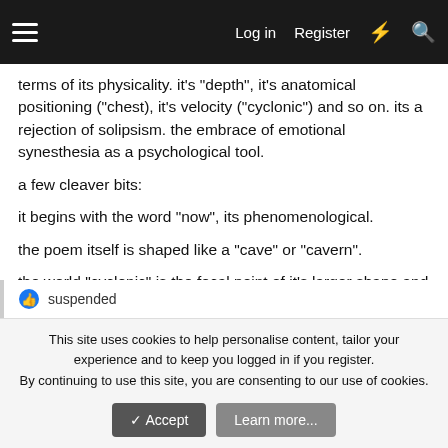Log in  Register
terms of its physicality. it's “depth”, it's anatomical positioning (“chest), it's velocity (“cyclonic”) and so on. its a rejection of solipsism. the embrace of emotional synesthesia as a psychological tool.
a few cleaver bits:
it begins with the word “now”, its phenomenological.
the poem itself is shaped like a “cave” or “cavern”.
the world “cyclonic” is the focal point of it’s larger shape and to it rhythmically. its infinity point. like the centre of a cyclone.
suspended
This site uses cookies to help personalise content, tailor your experience and to keep you logged in if you register.
By continuing to use this site, you are consenting to our use of cookies.